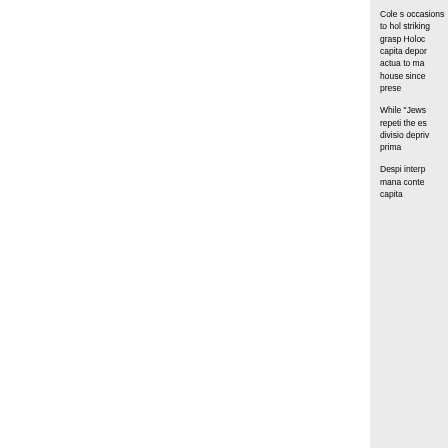Cole s occasions to hol striking grasp Holoc capita depor actua to ma house since prese
While "Jews repeti the es divisio depri prima
Despi interp mana conte capita